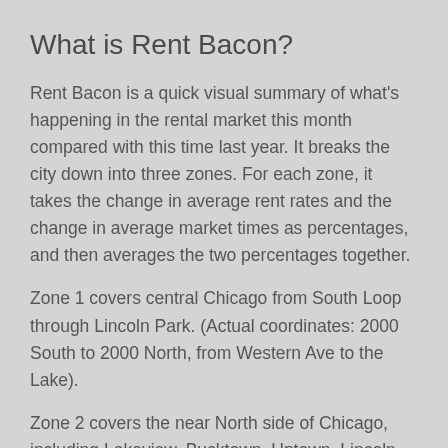What is Rent Bacon?
Rent Bacon is a quick visual summary of what's happening in the rental market this month compared with this time last year. It breaks the city down into three zones. For each zone, it takes the change in average rent rates and the change in average market times as percentages, and then averages the two percentages together.
Zone 1 covers central Chicago from South Loop through Lincoln Park. (Actual coordinates: 2000 South to 2000 North, from Western Ave to the Lake).
Zone 2 covers the near North side of Chicago, including Lakeview, Bucktown, Uptown, Lincoln Square, Roscoe Village and NorthCenter. (Actual coordinates: 2000 North